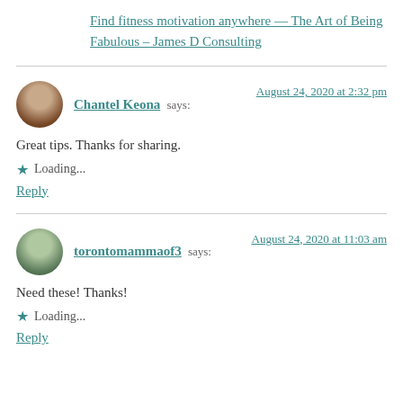Find fitness motivation anywhere — The Art of Being Fabulous – James D Consulting
Chantel Keona says:
August 24, 2020 at 2:32 pm
Great tips. Thanks for sharing.
Loading...
Reply
torontomammaof3 says:
August 24, 2020 at 11:03 am
Need these! Thanks!
Loading...
Reply